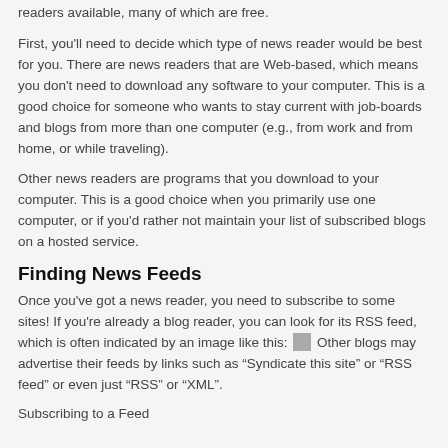readers available, many of which are free.
First, you'll need to decide which type of news reader would be best for you. There are news readers that are Web-based, which means you don't need to download any software to your computer. This is a good choice for someone who wants to stay current with job-boards and blogs from more than one computer (e.g., from work and from home, or while traveling).
Other news readers are programs that you download to your computer. This is a good choice when you primarily use one computer, or if you'd rather not maintain your list of subscribed blogs on a hosted service.
Finding News Feeds
Once you've got a news reader, you need to subscribe to some sites! If you're already a blog reader, you can look for its RSS feed, which is often indicated by an image like this: [RSS icon] Other blogs may advertise their feeds by links such as “Syndicate this site” or “RSS feed” or even just “RSS” or “XML”.
Subscribing to a Feed